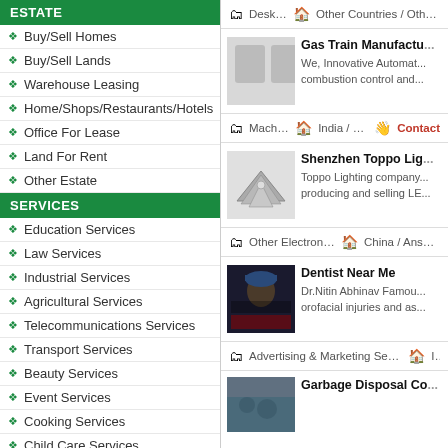ESTATE
Buy/Sell Homes
Buy/Sell Lands
Warehouse Leasing
Home/Shops/Restaurants/Hotels
Office For Lease
Land For Rent
Other Estate
SERVICES
Education Services
Law Services
Industrial Services
Agricultural Services
Telecommunications Services
Transport Services
Beauty Services
Event Services
Cooking Services
Child Care Services
Travel Services
Computers / IT Services
Advertising & Marketing Services
Desktop   Other Countries / Other Co...
Gas Train Manufactu... — We, Innovative Automat... combustion control and...
Machines   India / Pune   Contact...
Shenzhen Toppo Lig... — Toppo Lighting company... producing and selling LE...
Other Electronics   China / Anshan
Dentist Near Me — Dr.Nitin Abhinav Famou... orofacial injuries and as...
Advertising & Marketing Services   In...
Garbage Disposal Co...